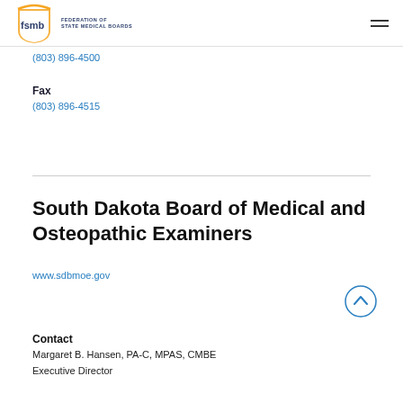FSMB - FEDERATION OF STATE MEDICAL BOARDS
(803) 896-4500
Fax
(803) 896-4515
South Dakota Board of Medical and Osteopathic Examiners
www.sdbmoe.gov
File a Complaint
Contact
Margaret B. Hansen, PA-C, MPAS, CMBE
Executive Director